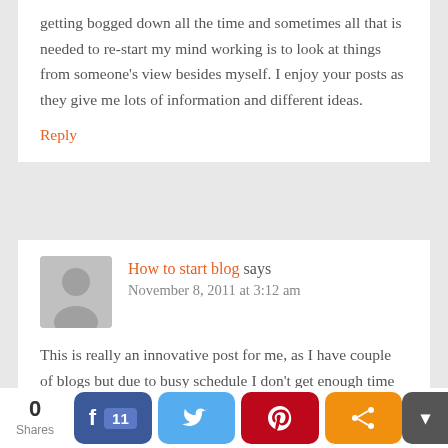getting bogged down all the time and sometimes all that is needed to re-start my mind working is to look at things from someone's view besides myself. I enjoy your posts as they give me lots of information and different ideas.
Reply
How to start blog says
November 8, 2011 at 3:12 am
This is really an innovative post for me, as I have couple of blogs but due to busy schedule I don't get enough time to write valuable article. So now I am going to try guest author option and invite various authors to my blog for their share.